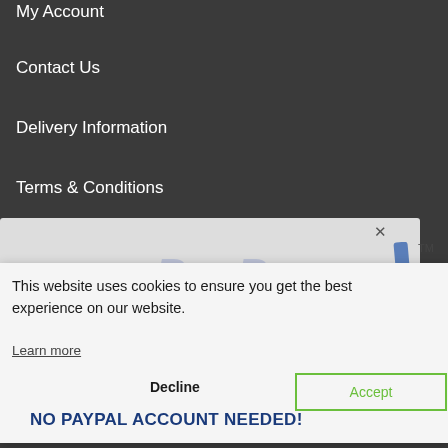My Account
Contact Us
Delivery Information
Terms & Conditions
Privacy Policy
Returns & Refund Policy
[Figure (screenshot): Cookie consent dialog with 'Decline' and 'Accept' buttons overlaying a webpage with PayPal payment section]
This website uses cookies to ensure you get the best experience on our website.
Learn more
Decline
Accept
NO PAYPAL ACCOUNT NEEDED!